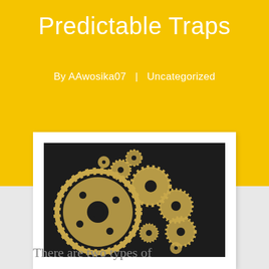Predictable Traps
By AAwosika07  |  Uncategorized
[Figure (photo): Multiple golden/brass mechanical gears of various sizes arranged on a dark black background]
There are two types of